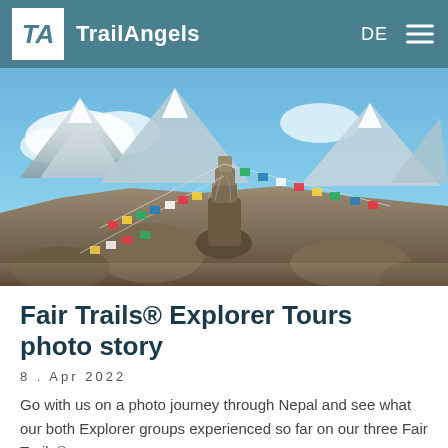TrailAngels — DE
[Figure (photo): Prayer flags on a rocky cairn in the Himalayas, Nepal, with snow-capped mountains and blue sky in the background.]
Fair Trails® Explorer Tours photo story
8 . Apr 2022
Go with us on a photo journey through Nepal and see what our both Explorer groups experienced so far on our three Fair Trails®.